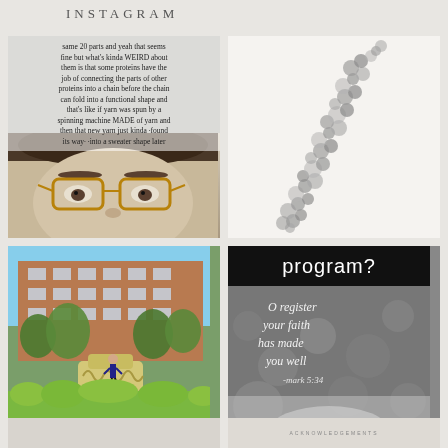INSTAGRAM
[Figure (photo): Instagram post with text overlay about proteins over a selfie photo of a person with glasses]
[Figure (photo): Black and white image of a molecular/protein chain structure on white background]
[Figure (photo): Outdoor photo of a campus building with ornate fountain/sculpture and person posing in front, surrounded by green bushes]
[Figure (photo): Black and white Instagram post with 'program?' text in black bar at top and cursive script text below on a bokeh background]
[Figure (photo): Partial bottom left image, light colored]
ACKNOWLEDGEMENTS